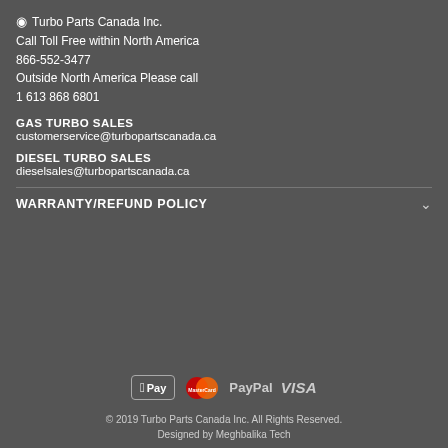📍 Turbo Parts Canada Inc.
Call Toll Free within North America
866-552-3477
Outside North America Please call
1 613 868 6801
GAS TURBO SALES
customerservice@turbopartscanada.ca
DIESEL TURBO SALES
dieselsales@turbopartscanada.ca
WARRANTY/REFUND POLICY
[Figure (logo): Payment method logos: Apple Pay, Mastercard, PayPal, VISA]
© 2019 Turbo Parts Canada Inc. All Rights Reserved.
Designed by Meghbalika Tech